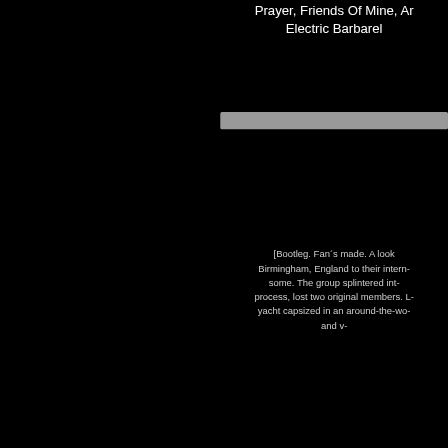Prayer, Friends Of Mine, An Electric Barbarel
[Figure (other): Gray horizontal bar/divider]
[Bootleg. Fan's made. A look Birmingham, England to their intern- some. The group splintered int- process, lost two original members. L- yacht capsized in an around-the-wo- and v-
[Figure (photo): Small US flag icon]
[Figure (other): Gray horizontal bar/divider]
Girls On Film, Hung Undone, All She Wants Is